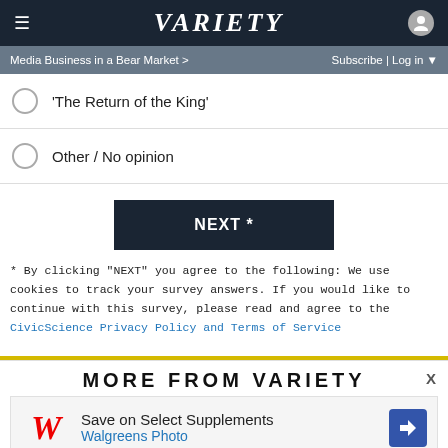Variety
Media Business in a Bear Market > | Subscribe | Log in
'The Return of the King'
Other / No opinion
NEXT *
* By clicking "NEXT" you agree to the following: We use cookies to track your survey answers. If you would like to continue with this survey, please read and agree to the CivicScience Privacy Policy and Terms of Service
MORE FROM VARIETY
[Figure (photo): Walgreens advertisement: Save on Select Supplements - Walgreens Photo]
X